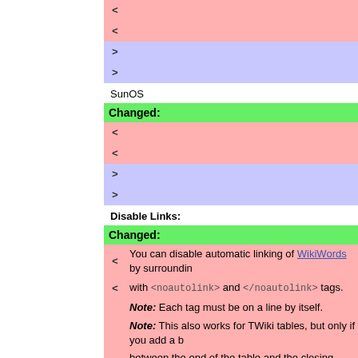SunOS
Changed:
Disable Links:
Changed:
You can disable automatic linking of WikiWords by surrounding with <noautolink> and </noautolink> tags.
Note: Each tag must be on a line by itself.
Note: This also works for TWiki tables, but only if you add a blank line between the end of the table and the closing </noautolink> tag. (known issue of the TablePlugin).
You can disable automatic linking of WikiWords by surround...